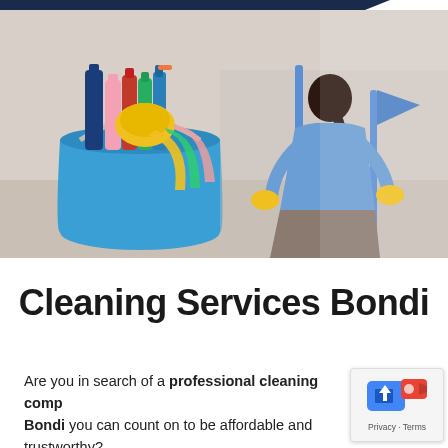[Figure (photo): Cleaning supplies in a blue bucket (bottles, sponges, yellow cloth) on the left, and a woman from behind wearing a blue top and yellow gloves holding mops/cleaning tools on the right]
Cleaning Services Bondi
Are you in search of a professional cleaning company in Bondi you can count on to be affordable and trustworthy?
[Figure (screenshot): Small privacy widget showing a blue camera/video icon with an up-arrow button and 'Privacy · Terms' text]